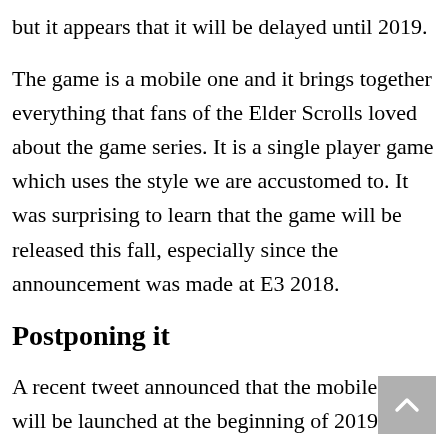but it appears that it will be delayed until 2019.
The game is a mobile one and it brings together everything that fans of the Elder Scrolls loved about the game series. It is a single player game which uses the style we are accustomed to. It was surprising to learn that the game will be released this fall, especially since the announcement was made at E3 2018.
Postponing it
A recent tweet announced that the mobile game will be launched at the beginning of 2019: “The Elder Scrolls: Blades will release in Early 2019 for iOS and Android devices. We are incredibly excited for you to play Blades and you can still sign up for Early Access at https://t.co/uuFPob6YWJ.”